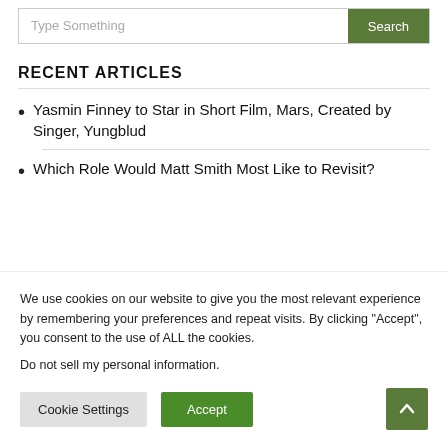[Figure (screenshot): Search bar with text input placeholder 'Type Something' and green 'Search' button]
RECENT ARTICLES
Yasmin Finney to Star in Short Film, Mars, Created by Singer, Yungblud
Which Role Would Matt Smith Most Like to Revisit?
We use cookies on our website to give you the most relevant experience by remembering your preferences and repeat visits. By clicking “Accept”, you consent to the use of ALL the cookies.
Do not sell my personal information.